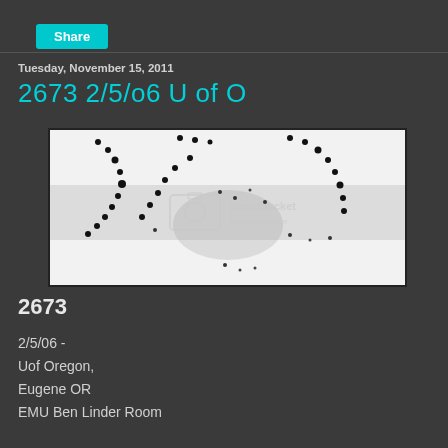Share
Tuesday, November 15, 2011
2673 2/5/o6 U of O
[Figure (photo): A photo with photobucket watermark overlay showing what appears to be a string of dark beads or dots arranged in a pattern against a light/white background, with a grey horizontal band across the middle.]
2673
2/5/06 -
Uof Oregon,
Eugene OR
EMU Ben Linder Room